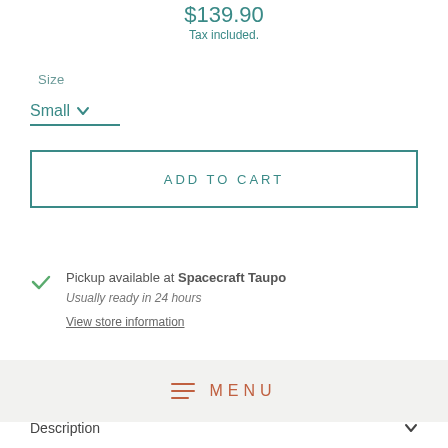$139.90
Tax included.
Size
Small
ADD TO CART
Pickup available at Spacecraft Taupo
Usually ready in 24 hours
View store information
MENU
Description